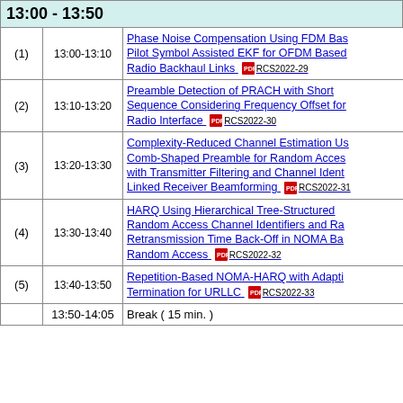13:00 - 13:50
| # | Time | Title |
| --- | --- | --- |
| (1) | 13:00-13:10 | Phase Noise Compensation Using FDM Based Pilot Symbol Assisted EKF for OFDM Based Radio Backhaul Links RCS2022-29 |
| (2) | 13:10-13:20 | Preamble Detection of PRACH with Short Sequence Considering Frequency Offset for Radio Interface RCS2022-30 |
| (3) | 13:20-13:30 | Complexity-Reduced Channel Estimation Using Comb-Shaped Preamble for Random Access with Transmitter Filtering and Channel Ident-Linked Receiver Beamforming RCS2022-31 |
| (4) | 13:30-13:40 | HARQ Using Hierarchical Tree-Structured Random Access Channel Identifiers and Random Retransmission Time Back-Off in NOMA Based Random Access RCS2022-32 |
| (5) | 13:40-13:50 | Repetition-Based NOMA-HARQ with Adaptive Termination for URLLC RCS2022-33 |
|  | 13:50-14:05 | Break ( 15 min. ) |